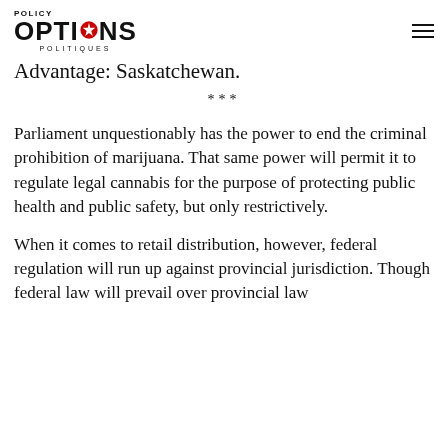POLICY OPTIONS POLITIQUES
Advantage: Saskatchewan.
***
Parliament unquestionably has the power to end the criminal prohibition of marijuana. That same power will permit it to regulate legal cannabis for the purpose of protecting public health and public safety, but only restrictively.
When it comes to retail distribution, however, federal regulation will run up against provincial jurisdiction. Though federal law will prevail over provincial law